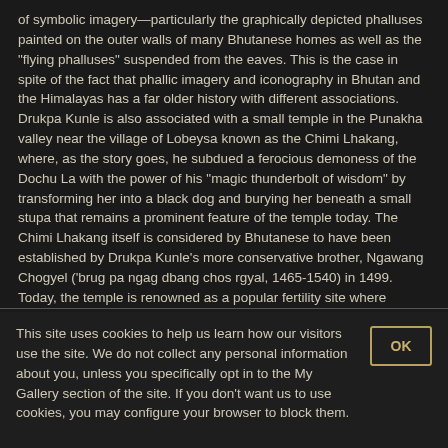of symbolic imagery—particularly the graphically depicted phalluses painted on the outer walls of many Bhutanese homes as well as the "flying phalluses" suspended from the eaves. This is the case in spite of the fact that phallic imagery and iconography in Bhutan and the Himalayas has a far older history with different associations. Drukpa Kunle is also associated with a small temple in the Punakha valley near the village of Lobeysa known as the Chimi Lhakang, where, as the story goes, he subdued a ferocious demoness of the Dochu La with the power of his "magic thunderbolt of wisdom" by transforming her into a black dog and burying her beneath a small stupa that remains a prominent feature of the temple today. The Chimi Lhakang itself is considered by Bhutanese to have been established by Drukpa Kunle's more conservative brother, Ngawang Chogyel ('brug pa ngag dbang chos rgyal, 1465-1540) in 1499. Today, the temple is renowned as a popular fertility site where infertile women from different countries come to be blessed on the head by a large wooden phallus and Drukpa Kunle's bow and arrows.
This site uses cookies to help us learn how our visitors use the site. We do not collect any personal information about you, unless you specifically opt in to the My Gallery section of the site. If you don't want us to use cookies, you may configure your browser to block them.